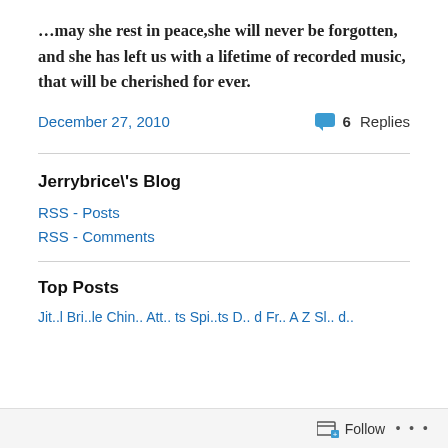…may she rest in peace,she will never be forgotten, and she has left us with a lifetime of recorded music, that will be cherished for ever.
December 27, 2010
6 Replies
Jerrybrice\'s Blog
RSS - Posts
RSS - Comments
Top Posts
Follow